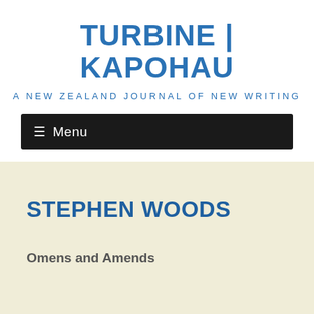TURBINE | KAPOHAU
A NEW ZEALAND JOURNAL OF NEW WRITING
☰ Menu
STEPHEN WOODS
Omens and Amends